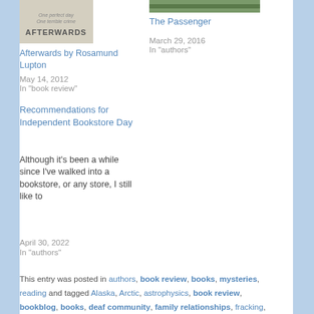[Figure (photo): Book cover image for 'Afterwards' by Rosamund Lupton]
Afterwards by Rosamund Lupton
May 14, 2012
In "book review"
[Figure (photo): Photo thumbnail for The Passenger post]
The Passenger
March 29, 2016
In "authors"
Recommendations for Independent Bookstore Day
Although it's been a while since I've walked into a bookstore, or any store, I still like to
April 30, 2022
In "authors"
This entry was posted in authors, book review, books, mysteries, reading and tagged Alaska, Arctic, astrophysics, book review, bookblog, books, deaf community, family relationships, fracking, London, mystery, Rosamund Lupton, The Quality of Silence,